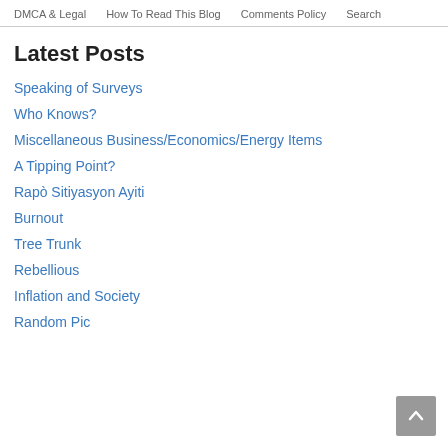DMCA & Legal  How To Read This Blog  Comments Policy  Search
Latest Posts
Speaking of Surveys
Who Knows?
Miscellaneous Business/Economics/Energy Items
A Tipping Point?
Rapò Sitiyasyon Ayiti
Burnout
Tree Trunk
Rebellious
Inflation and Society
Random Pic